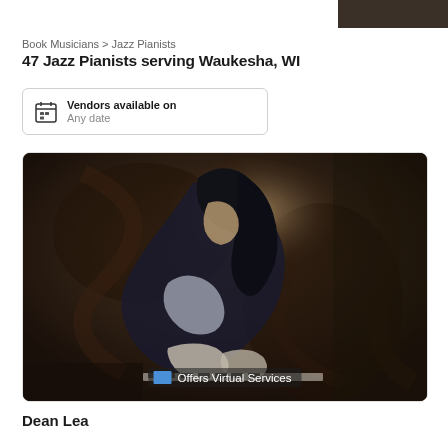[Figure (screenshot): Partial dark image strip at top right corner of page]
Book Musicians > Jazz Pianists
47 Jazz Pianists serving Waukesha, WI
Vendors available on
Any date
[Figure (photo): Artistic dark-toned photo of a jazz pianist leaning over piano keys, with a badge reading 'Offers Virtual Services']
Dean Lea